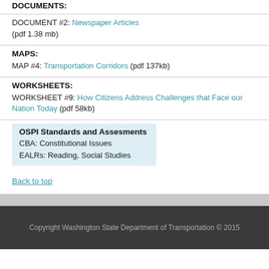DOCUMENTS:
DOCUMENT #2: Newspaper Articles (pdf 1.38 mb)
MAPS:
MAP #4: Transportation Corridors (pdf 137kb)
WORKSHEETS:
WORKSHEET #9: How Citizens Address Challenges that Face our Nation Today (pdf 58kb)
OSPI Standards and Assesments
CBA: Constitutional Issues
EALRs: Reading, Social Studies
Back to top
Copyright Washington State Department of Transportation © 2015